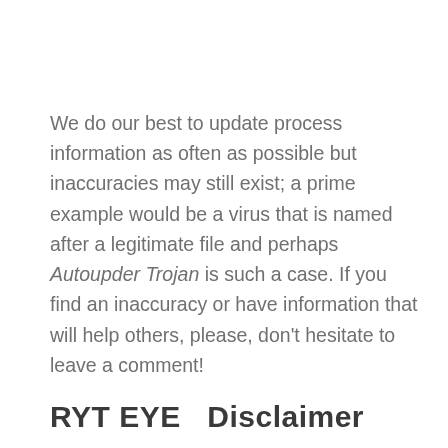We do our best to update process information as often as possible but inaccuracies may still exist; a prime example would be a virus that is named after a legitimate file and perhaps Autoupder Trojan is such a case. If you find an inaccuracy or have information that will help others, please, don't hesitate to leave a comment!
RYT EYE   Disclaimer